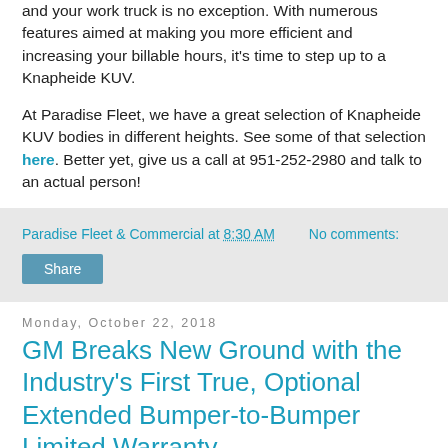and your work truck is no exception. With numerous features aimed at making you more efficient and increasing your billable hours, it's time to step up to a Knapheide KUV.
At Paradise Fleet, we have a great selection of Knapheide KUV bodies in different heights. See some of that selection here. Better yet, give us a call at 951-252-2980 and talk to an actual person!
Paradise Fleet & Commercial at 8:30 AM   No comments:
Share
Monday, October 22, 2018
GM Breaks New Ground with the Industry's First True, Optional Extended Bumper-to-Bumper Limited Warranty
[Figure (photo): Partial photo preview at the bottom of the page]